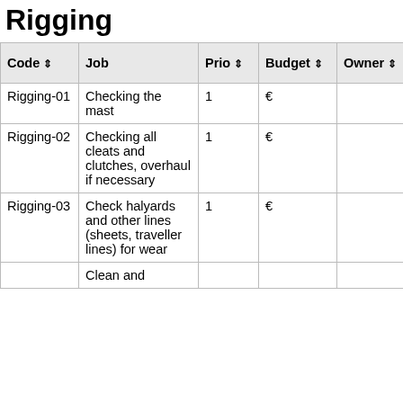Rigging
| Code ⬧ | Job | Prio ⬧ | Budget ⬧ | Owner ⬧ | % Complete |
| --- | --- | --- | --- | --- | --- |
| Rigging-01 | Checking the mast | 1 | € |  | % |
| Rigging-02 | Checking all cleats and clutches, overhaul if necessary | 1 | € |  | % |
| Rigging-03 | Check halyards and other lines (sheets, traveller lines) for wear | 1 | € |  | % |
|  | Clean and |  |  |  |  |